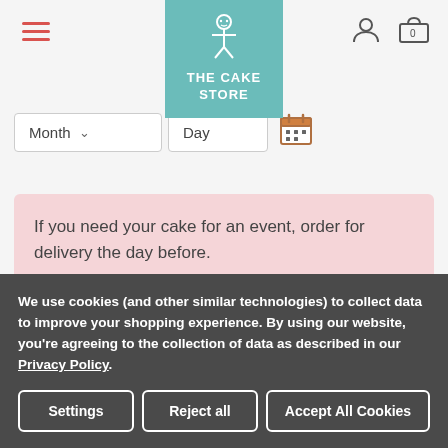[Figure (logo): The Cake Store logo - teal/green background with gingerbread man icon and text 'THE CAKE STORE']
[Figure (screenshot): Navigation bar with hamburger menu (red lines) on left, user icon and cart icon (showing 0) on right]
[Figure (screenshot): Date selector dropdowns: Month dropdown and Day dropdown with a calendar icon]
If you need your cake for an event, order for delivery the day before.
£32.00
We use cookies (and other similar technologies) to collect data to improve your shopping experience. By using our website, you're agreeing to the collection of data as described in our Privacy Policy.
Settings
Reject all
Accept All Cookies